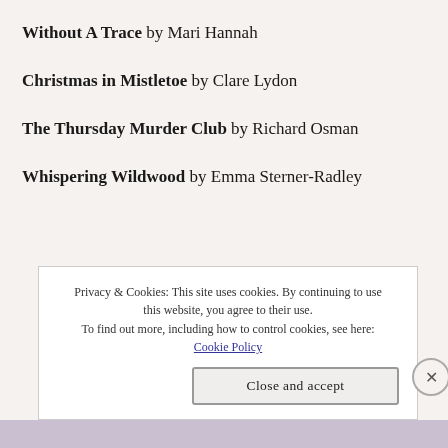Without A Trace by Mari Hannah
Christmas in Mistletoe by Clare Lydon
The Thursday Murder Club by Richard Osman
Whispering Wildwood by Emma Sterner-Radley
Privacy & Cookies: This site uses cookies. By continuing to use this website, you agree to their use.
To find out more, including how to control cookies, see here: Cookie Policy
Close and accept